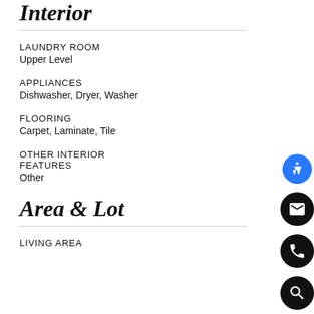Interior
LAUNDRY ROOM
Upper Level
APPLIANCES
Dishwasher, Dryer, Washer
FLOORING
Carpet, Laminate, Tile
OTHER INTERIOR FEATURES
Other
Area & Lot
LIVING AREA